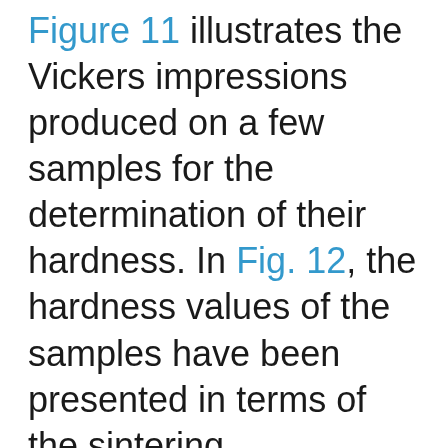Figure 11 illustrates the Vickers impressions produced on a few samples for the determination of their hardness. In Fig. 12, the hardness values of the samples have been presented in terms of the sintering temperature for different volume fractions of nanoSiC. It is revealed that with the increase in the